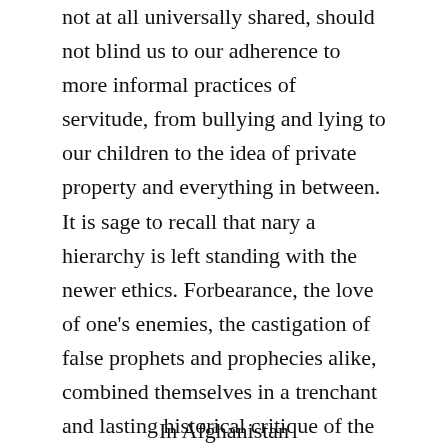not at all universally shared, should not blind us to our adherence to more informal practices of servitude, from bullying and lying to our children to the idea of private property and everything in between. It is sage to recall that nary a hierarchy is left standing with the newer ethics. Forbearance, the love of one’s enemies, the castigation of false prophets and prophecies alike, combined themselves in a trenchant and lasting historical critique of the civilizations that had rested upon the idea that there really were different types of human beings out there, to the point of those on the bottom requiring nothing and being ‘life unworthy of life’, to borrow a Nazi favorite.
In Afghanistan...